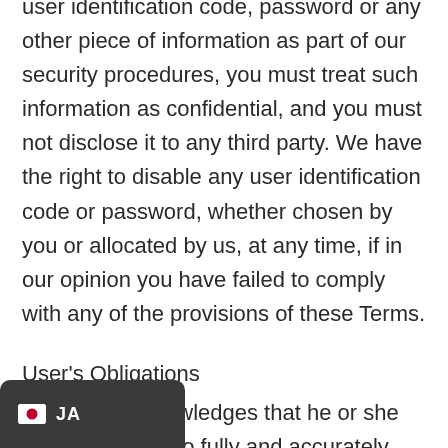user identification code, password or any other piece of information as part of our security procedures, you must treat such information as confidential, and you must not disclose it to any third party. We have the right to disable any user identification code or password, whether chosen by you or allocated by us, at any time, if in our opinion you have failed to comply with any of the provisions of these Terms.
User's Obligations
The User acknowledges that he or she will be required to fully and accurately complete a registration process which will include the creation of a password.